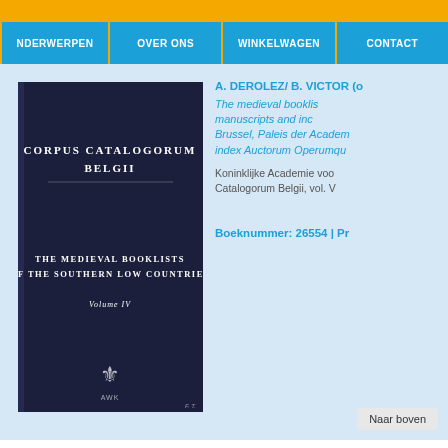NDERWERPEN | OVER ONS | WINKELWAGEN | CONTACT
[Figure (photo): Book cover of Corpus Catalogorum Belgii - The Medieval Booklists of the Southern Low Countries, Volume IV, dark blue cover with white text and publisher logo]
A. DEROLEZ/ B. VICTOR (o
The medieval booklis manuscripts and inc Brussel, Paleis der Acader index Auctorum Operumqu
Koninklijke Academie voo Catalogorum Belgii, vol. V
Boeknummer: 26554 | Pr
Naar boven